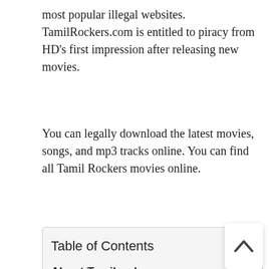most popular illegal websites. TamilRockers.com is entitled to piracy from HD's first impression after releasing new movies.
You can legally download the latest movies, songs, and mp3 tracks online. You can find all Tamil Rockers movies online.
| Table of Contents |
| --- |
| About Tamilrockers ws |
| Tamilrockers wsPopularity |
| News Tamilrockers ws |
| New Tamilrockers ws Site Links and How to Access them Efficiently |
| Instructions on How to get to the Tamilrockers ws Website |
| History Tamilrockers ws |
| Tamilrockers ws in India |